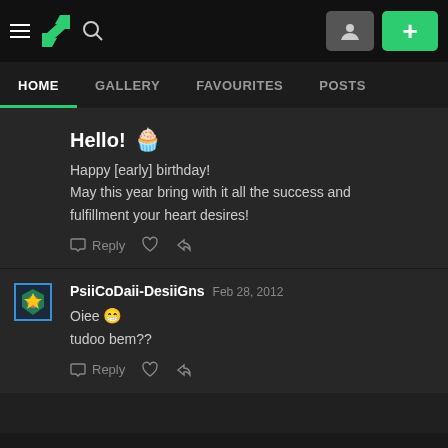DeviantArt navigation bar with hamburger menu, DA logo, search icon, profile button, and add button
HOME | GALLERY | FAVOURITES | POSTS
Hello! 🧁
Happy [early] birthday!
May this year bring with it all the success and fulfillment your heart desires!
Reply | ♡ | ↩
PsiiCoDaii-DesiiGns  Feb 28, 2012
Oiee 😁
tudoo bem??
Reply | ♡ | ↩